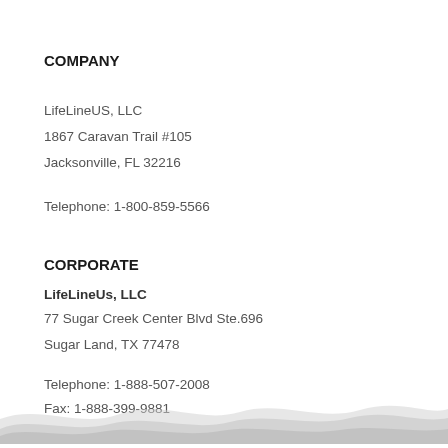COMPANY
LifeLineUS, LLC
1867 Caravan Trail #105
Jacksonville, FL 32216
Telephone: 1-800-859-5566
CORPORATE
LifeLineUs, LLC
77 Sugar Creek Center Blvd Ste.696
Sugar Land, TX 77478
Telephone: 1-888-507-2008
Fax: 1-888-399-9881